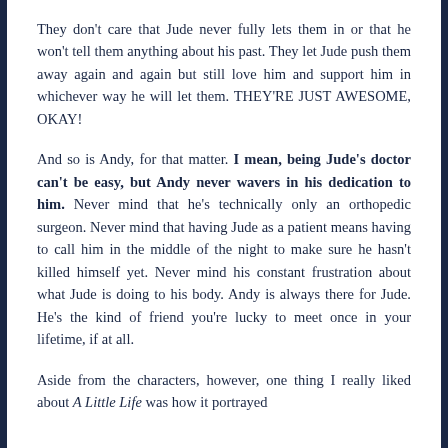They don't care that Jude never fully lets them in or that he won't tell them anything about his past. They let Jude push them away again and again but still love him and support him in whichever way he will let them. THEY'RE JUST AWESOME, OKAY!
And so is Andy, for that matter. I mean, being Jude's doctor can't be easy, but Andy never wavers in his dedication to him. Never mind that he's technically only an orthopedic surgeon. Never mind that having Jude as a patient means having to call him in the middle of the night to make sure he hasn't killed himself yet. Never mind his constant frustration about what Jude is doing to his body. Andy is always there for Jude. He's the kind of friend you're lucky to meet once in your lifetime, if at all.
Aside from the characters, however, one thing I really liked about A Little Life was how it portrayed